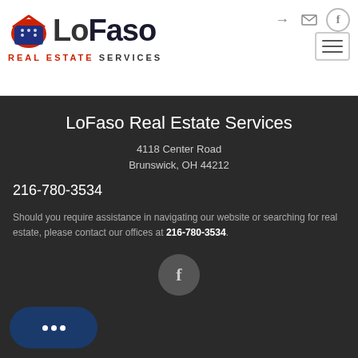[Figure (logo): LoFaso Real Estate Services logo with house icon, red and blue colors]
LoFaso Real Estate Services
4118 Center Road
Brunswick, OH 44212
216-780-3534
Should you require assistance in navigating our website or searching for real estate, please contact our offices at 216-780-3534.
[Figure (illustration): Facebook icon in a dark circular button]
[Figure (illustration): Chat/messaging button in dark navy blue rounded rectangle]